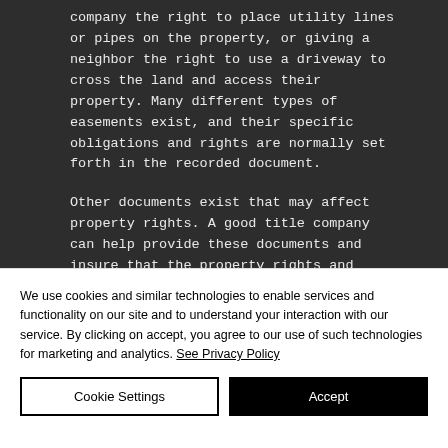company the right to place utility lines or pipes on the property, or giving a neighbor the right to use a driveway to cross the land and access their property. Many different types of easements exist, and their specific obligations and rights are normally set forth in the recorded document.

Other documents exist that may affect property rights. A good title company can help provide these documents and insure that the property rights and
We use cookies and similar technologies to enable services and functionality on our site and to understand your interaction with our service. By clicking on accept, you agree to our use of such technologies for marketing and analytics. See Privacy Policy
Cookie Settings
Accept